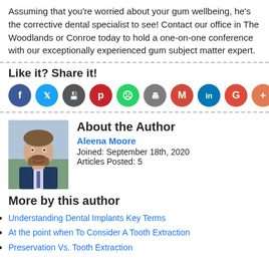Assuming that you're worried about your gum wellbeing, he's the corrective dental specialist to see! Contact our office in The Woodlands or Conroe today to hold a one-on-one conference with our exceptionally experienced gum subject matter expert.
Like it? Share it!
[Figure (infographic): Row of 10 social sharing icon buttons: Facebook (blue), Twitter (light blue), Save (dark grey), Pinterest (red), WhatsApp (green), Print (grey), Gmail (red), LinkedIn (teal), Google (red-orange), Plus (orange)]
[Figure (photo): Headshot photo of a man in a suit with a beard and mustache, smiling, with greenery in background]
About the Author
Aleena Moore
Joined: September 18th, 2020
Articles Posted: 5
More by this author
Understanding Dental Implants Key Terms
At the point when To Consider A Tooth Extraction
Preservation Vs. Tooth Extraction